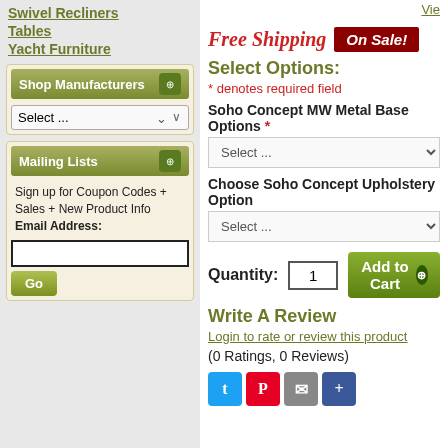Swivel Recliners
Tables
Yacht Furniture
Shop Manufacturers
Mailing Lists
Sign up for Coupon Codes + Sales + New Product Info Email Address:
Free Shipping  On Sale!
Select Options:
* denotes required field
Soho Concept MW Metal Base Options *
Choose Soho Concept Upholstery Option
Quantity: 1  Add to Cart
Write A Review
Login to rate or review this product
(0 Ratings, 0 Reviews)